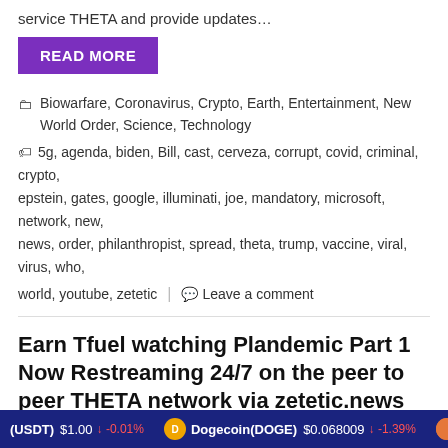service THETA and provide updates…
READ MORE
Biowarfare, Coronavirus, Crypto, Earth, Entertainment, New World Order, Science, Technology
5g, agenda, biden, Bill, cast, cerveza, corrupt, covid, criminal, crypto, epstein, gates, google, illuminati, joe, mandatory, microsoft, network, new, news, order, philanthropist, spread, theta, trump, vaccine, viral, virus, who, world, youtube, zetetic | Leave a comment
Earn Tfuel watching Plandemic Part 1 Now Restreaming 24/7 on the peer to peer THETA network via zetetic.news
May 12, 2020   DaveDave
[Figure (photo): Thumbnail image from a video with AP badge in the top right corner]
Plandemic part 1 is a 26 minute documentary
(USDT) $1.00 ↓ -0.01%   Dogecoin(DOGE) $0.068009 ↓ -1.39%